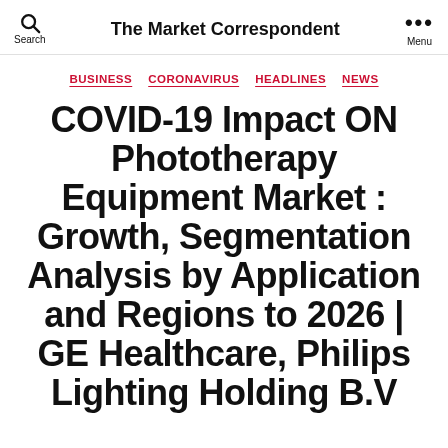The Market Correspondent
BUSINESS  CORONAVIRUS  HEADLINES  NEWS
COVID-19 Impact ON Phototherapy Equipment Market : Growth, Segmentation Analysis by Application and Regions to 2026 | GE Healthcare, Philips Lighting Holding B.V